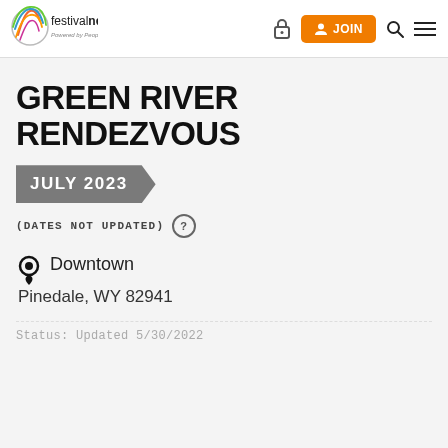[Figure (logo): FestivalNet logo with colorful circular graphic and text 'festivalnet. Powered by Peoples']
festivalnet. Powered by Peoples — JOIN button, lock icon, search icon, menu icon
GREEN RIVER RENDEZVOUS
JULY 2023
(DATES NOT UPDATED) ?
Downtown
Pinedale, WY 82941
Status: Updated 5/30/2022